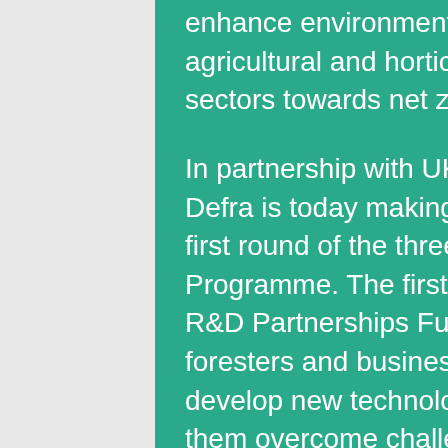enhance environmental sustainability in England's agricultural and horticultural sectors, whilst driving the sectors towards net zero.
In partnership with UK Research & Innovation (UKRI), Defra is today making £17.5 million available for the first round of the three funds which make up the Programme. The first fund to open is the 'Industry-led R&D Partnerships Fund', where farmers, growers, foresters and businesses can bid for funding to develop new technologies and practices that will help them overcome challenges and exploit new opportunities in the sector such as the use of artificial intelligence and low-emission machineries to optimise the production process, and the development of climate-resilient crops.
Early next year, Defra will launch the 'Farming Futures R&D Fund', for strategic projects aimed at tackling climate change by reducing the